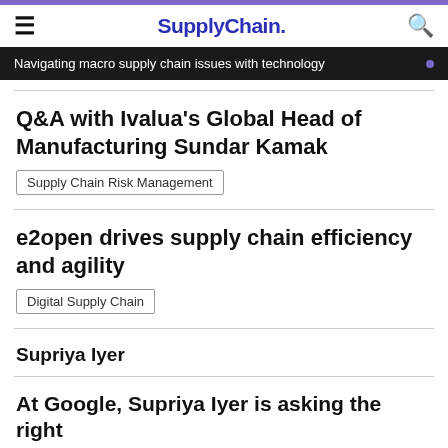SupplyChain.
Navigating macro supply chain issues with technology
Q&A with Ivalua's Global Head of Manufacturing Sundar Kamak
Supply Chain Risk Management
e2open drives supply chain efficiency and agility
Digital Supply Chain
Supriya Iyer
At Google, Supriya Iyer is asking the right